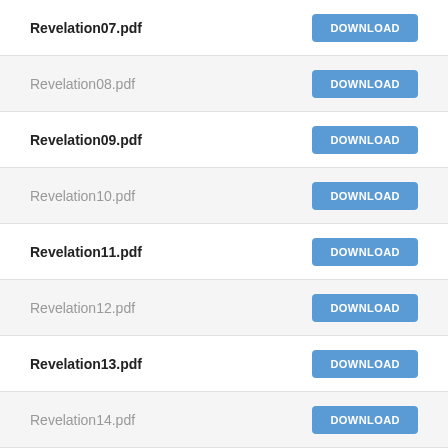Revelation07.pdf DOWNLOAD
Revelation08.pdf DOWNLOAD
Revelation09.pdf DOWNLOAD
Revelation10.pdf DOWNLOAD
Revelation11.pdf DOWNLOAD
Revelation12.pdf DOWNLOAD
Revelation13.pdf DOWNLOAD
Revelation14.pdf DOWNLOAD